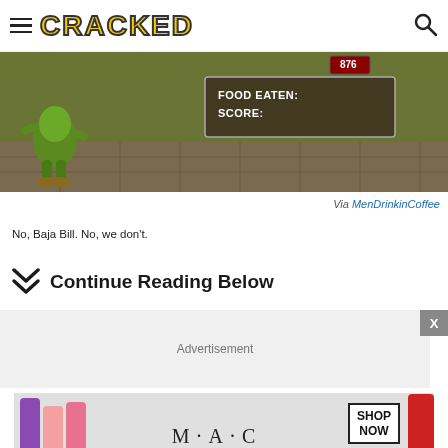CRACKED
[Figure (screenshot): Video game screenshot showing a character (Baja Bill) with a game UI overlay displaying 'FOOD EATEN:' and 'SCORE:' text, with a health/level indicator in the top right]
Via MenDrinkinCoffee
No, Baja Bill. No, we don't.
Continue Reading Below
[Figure (infographic): Advertisement placeholder box labeled 'Advertisement' with an X close button]
[Figure (photo): MAC cosmetics advertisement showing lipsticks in purple, pink, and red colors with MAC logo and SHOP NOW box]